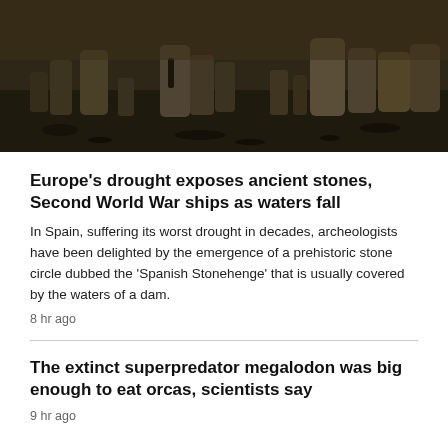[Figure (photo): Dark photograph of ancient standing stones in a field, part of the 'Spanish Stonehenge' prehistoric stone circle emerging from drought-lowered reservoir waters.]
Europe's drought exposes ancient stones, Second World War ships as waters fall
In Spain, suffering its worst drought in decades, archeologists have been delighted by the emergence of a prehistoric stone circle dubbed the 'Spanish Stonehenge' that is usually covered by the waters of a dam.
8 hr ago
The extinct superpredator megalodon was big enough to eat orcas, scientists say
9 hr ago